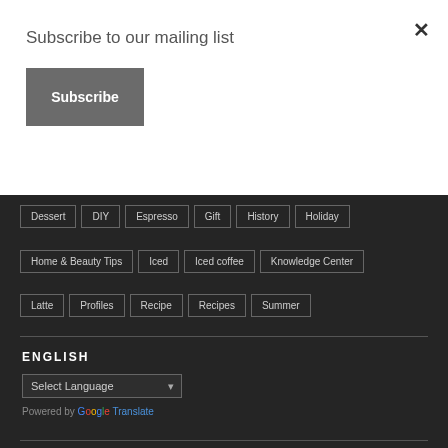Subscribe to our mailing list
[Figure (other): Subscribe button (dark gray rectangle with white bold text 'Subscribe') and close X button]
Dessert
DIY
Espresso
Gift
History
Holiday
Home & Beauty Tips
Iced
Iced coffee
Knowledge Center
Latte
Profiles
Recipe
Recipes
Summer
ENGLISH
Select Language
Powered by Google Translate